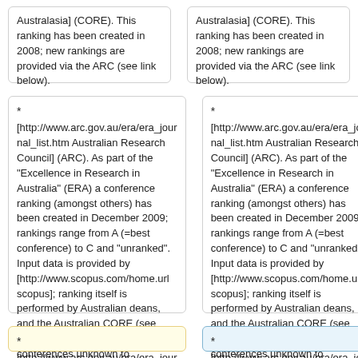Australasia] (CORE). This ranking has been created in 2008; new rankings are provided via the ARC (see link below).
Australasia] (CORE). This ranking has been created in 2008; new rankings are provided via the ARC (see link below).
* [http://www.arc.gov.au/era/era_journal_list.htm Australian Research Council] (ARC). As part of the "Excellence in Research in Australia" (ERA) a conference ranking (amongst others) has been created in December 2009; rankings range from A (=best conference) to C and "unranked". Input data is provided by [http://www.scopus.com/home.url scopus]; ranking itself is performed by Australian deans, and the Australian CORE (see above). As a consequence, conferences unknown to Australian researchers have not been ranked.
* [http://www.arc.gov.au/era/era_journal_list.htm Australian Research Council] (ARC). As part of the "Excellence in Research in Australia" (ERA) a conference ranking (amongst others) has been created in December 2009; rankings range from A (=best conference) to C and "unranked". Input data is provided by [http://www.scopus.com/home.url scopus]; ranking itself is performed by Australian deans, and the Australian CORE (see above). As a consequence, conferences unknown to Australian researchers have not been ranked.
*
*